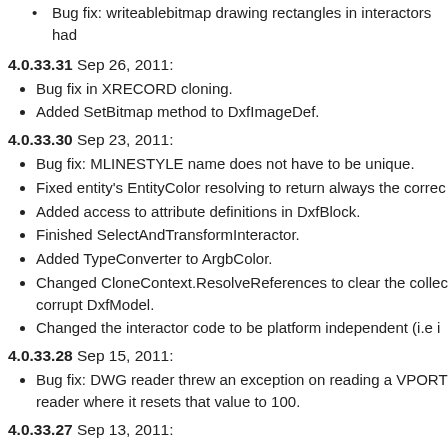Bug fix: writeablebitmap drawing rectangles in interactors had
4.0.33.31 Sep 26, 2011:
Bug fix in XRECORD cloning.
Added SetBitmap method to DxfImageDef.
4.0.33.30 Sep 23, 2011:
Bug fix: MLINESTYLE name does not have to be unique.
Fixed entity's EntityColor resolving to return always the correc
Added access to attribute definitions in DxfBlock.
Finished SelectAndTransformInteractor.
Added TypeConverter to ArgbColor.
Changed CloneContext.ResolveReferences to clear the collec corrupt DxfModel.
Changed the interactor code to be platform independent (i.e i
4.0.33.28 Sep 15, 2011:
Bug fix: DWG reader threw an exception on reading a VPORT reader where it resets that value to 100.
4.0.33.27 Sep 13, 2011:
Bug fix: Fixed incorrect read of DxfShape thickness in DxfRea
Bug fix: Segment2D.GetIntersectionParameters in rare cases
Added example code for DxfHandledObject.Clone/CloneCont